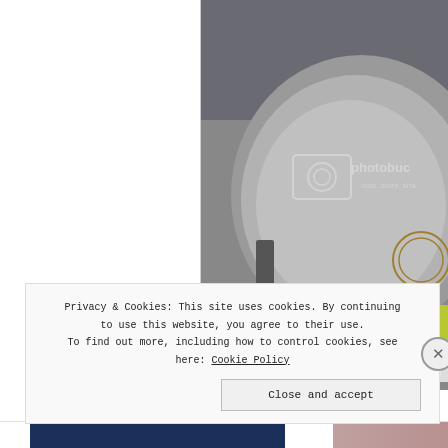[Figure (screenshot): Photobucket-watermarked photograph showing a large domed structure with a bicycle and people in an exhibition or trade show setting. The image has a Photobucket watermark overlay reading 'photobucket' and 'host. store. sha...']
sandal and footwear indust also served as an elevated
Privacy & Cookies: This site uses cookies. By continuing to use this website, you agree to their use. To find out more, including how to control cookies, see here: Cookie Policy

Close and accept